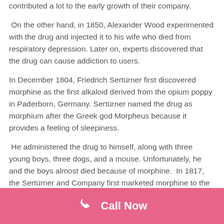contributed a lot to the early growth of their company.
On the other hand, in 1850, Alexander Wood experimented with the drug and injected it to his wife who died from respiratory depression. Later on, experts discovered that the drug can cause addiction to users.
In December 1804, Friedrich Sertürner first discovered morphine as the first alkaloid derived from the opium poppy in Paderborn, Germany. Sertürner named the drug as morphium after the Greek god Morpheus because it provides a feeling of sleepiness.
He administered the drug to himself, along with three young boys, three dogs, and a mouse. Unfortunately, he and the boys almost died because of morphine. In 1817, the Sertürner and Company first marketed morphine to the general public as a pain reliever. They claimed that the drug can even cure opium and alcohol addiction.
Call Now